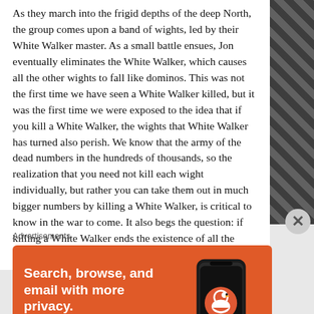As they march into the frigid depths of the deep North, the group comes upon a band of wights, led by their White Walker master. As a small battle ensues, Jon eventually eliminates the White Walker, which causes all the other wights to fall like dominos. This was not the first time we have seen a White Walker killed, but it was the first time we were exposed to the idea that if you kill a White Walker, the wights that White Walker has turned also perish. We know that the army of the dead numbers in the hundreds of thousands, so the realization that you need not kill each wight individually, but rather you can take them out in much bigger numbers by killing a White Walker, is critical to know in the war to come. It also begs the question: if killing a White Walker ends the existence of all the wights that
Advertisements
[Figure (other): DuckDuckGo advertisement banner. Orange background with white text: 'Search, browse, and email with more privacy.' and a white button labeled 'All in One Free App'. Right side shows a dark smartphone with the DuckDuckGo logo and 'DuckDuckGo.' text.]